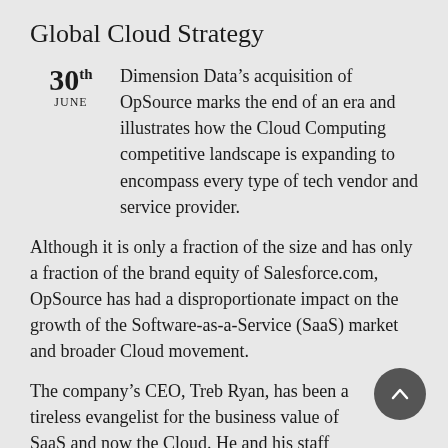Global Cloud Strategy
30th JUNE  Dimension Data’s acquisition of OpSource marks the end of an era and illustrates how the Cloud Computing competitive landscape is expanding to encompass every type of tech vendor and service provider.
Although it is only a fraction of the size and has only a fraction of the brand equity of Salesforce.com, OpSource has had a disproportionate impact on the growth of the Software-as-a-Service (SaaS) market and broader Cloud movement.
The company’s CEO, Treb Ryan, has been a tireless evangelist for the business value of SaaS and now the Cloud. He and his staff have invested heavily in educating and facilitating the industry’s growth through an endless stream of webcasts and whitepapers, and founding the